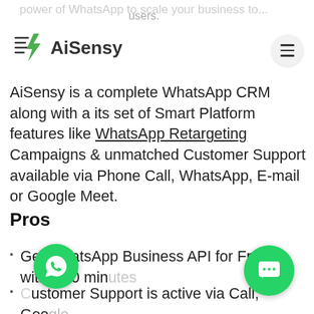power of WhatsApp to scale your business to users.
[Figure (logo): AiSensy logo with green lightning bolt icon and text 'AiSensy']
AiSensy is a complete WhatsApp CRM along with a its set of Smart Platform features like WhatsApp Retargeting Campaigns & unmatched Customer Support available via Phone Call, WhatsApp, E-mail or Google Meet.
Pros
Get WhatsApp Business API for Free within 10 minutes
Customer Support is active via Call, Google Meet & WhatsApp